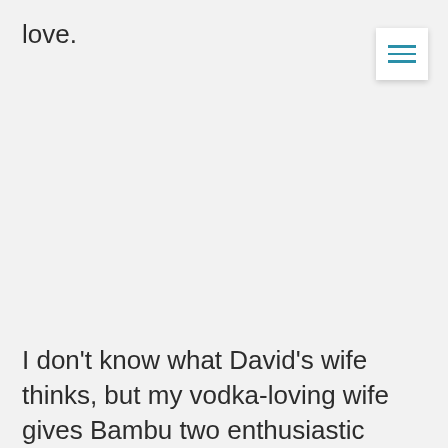love.
I don't know what David's wife thinks, but my vodka-loving wife gives Bambu two enthusiastic